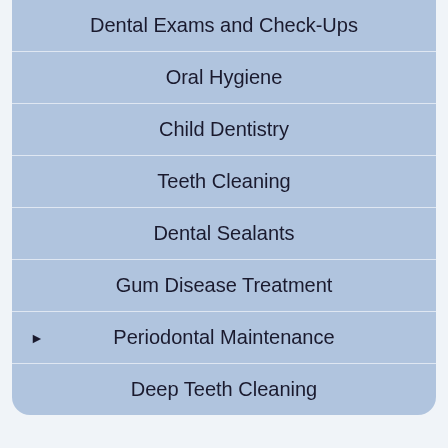Dental Exams and Check-Ups
Oral Hygiene
Child Dentistry
Teeth Cleaning
Dental Sealants
Gum Disease Treatment
Periodontal Maintenance
Deep Teeth Cleaning
SCHEDULE AN APPOINTMENT